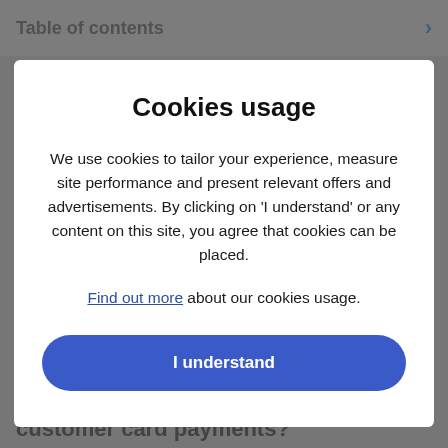Table of contents
Cookies usage
We use cookies to tailor your experience, measure site performance and present relevant offers and advertisements. By clicking on 'I understand' or any content on this site, you agree that cookies can be placed.
Find out more about our cookies usage.
I understand
3. Do you require additional funding, and if so, does your business take customer card payments?